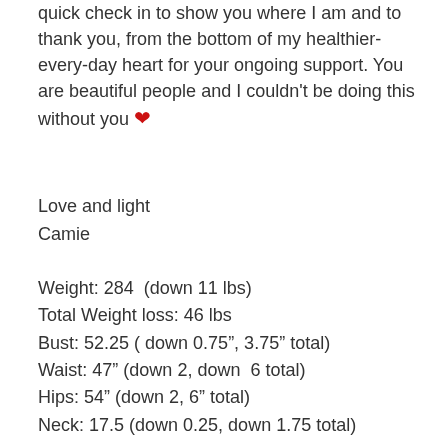quick check in to show you where I am and to thank you, from the bottom of my healthier-every-day heart for your ongoing support. You are beautiful people and I couldn't be doing this without you ❤
Love and light
Camie
Weight: 284  (down 11 lbs)
Total Weight loss: 46 lbs
Bust: 52.25 ( down 0.75", 3.75" total)
Waist: 47" (down 2, down  6 total)
Hips: 54" (down 2, 6" total)
Neck: 17.5 (down 0.25, down 1.75 total)
Total inches lost (17.5")
More Photos...